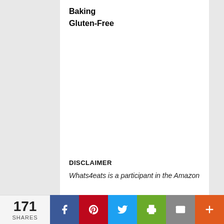Baking
Gluten-Free
DISCLAIMER
Whats4eats is a participant in the Amazon
171 SHARES